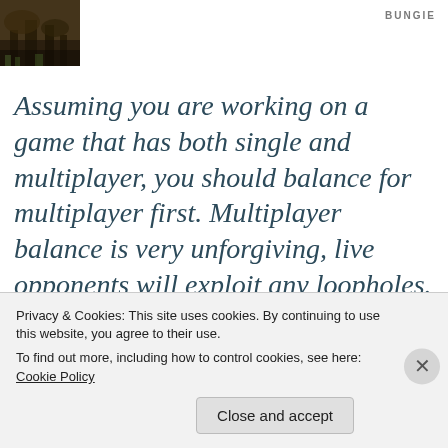[Figure (photo): Small thumbnail photo showing a dark forest/nature scene with brown and green tones]
BUNGIE
Assuming you are working on a game that has both single and multiplayer, you should balance for multiplayer first. Multiplayer balance is very unforgiving, live opponents will exploit any loopholes. The AI in singleplayer are a lot more flexible and malleable, so the balance doesn't need to be as precise.
Privacy & Cookies: This site uses cookies. By continuing to use this website, you agree to their use.
To find out more, including how to control cookies, see here: Cookie Policy